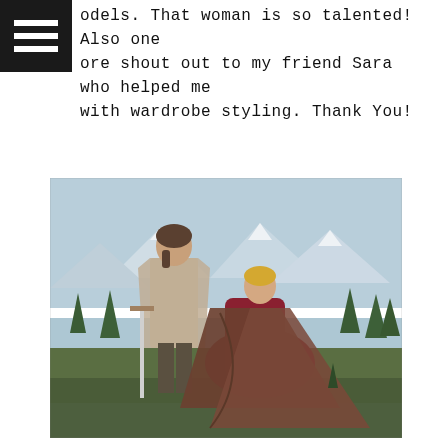odels. That woman is so talented! Also one ore shout out to my friend Sara who helped me with wardrobe styling. Thank You!
[Figure (photo): A couple dressed in Viking/medieval fantasy costumes posing outdoors in a mountainous landscape with pine trees and a lake in the background. The man stands holding a sword wearing a tunic and linen wrap, while the woman kneels in a dark red dress with a large brown leather/suede cloak draped behind her.]